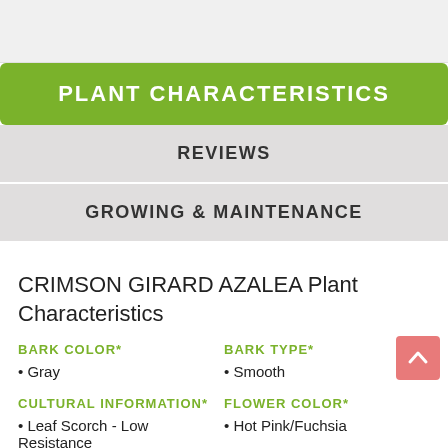PLANT CHARACTERISTICS
REVIEWS
GROWING & MAINTENANCE
CRIMSON GIRARD AZALEA Plant Characteristics
BARK COLOR*
BARK TYPE*
Gray
Smooth
CULTURAL INFORMATION*
FLOWER COLOR*
Leaf Scorch - Low Resistance
Hot Pink/Fuchsia